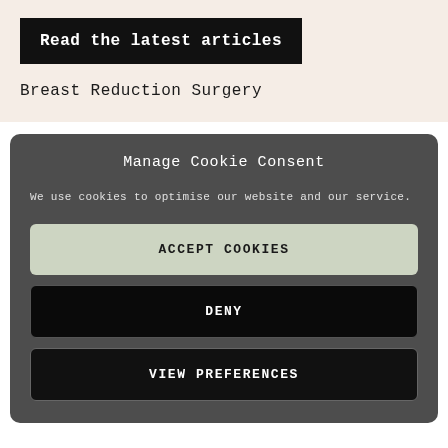Read the latest articles
Breast Reduction Surgery
Manage Cookie Consent
We use cookies to optimise our website and our service.
ACCEPT COOKIES
DENY
VIEW PREFERENCES